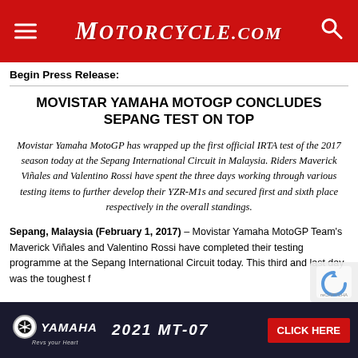Motorcycle.com
Begin Press Release:
MOVISTAR YAMAHA MOTOGP CONCLUDES SEPANG TEST ON TOP
Movistar Yamaha MotoGP has wrapped up the first official IRTA test of the 2017 season today at the Sepang International Circuit in Malaysia. Riders Maverick Viñales and Valentino Rossi have spent the three days working through various testing items to further develop their YZR-M1s and secured first and sixth place respectively in the overall standings.
Sepang, Malaysia (February 1, 2017) – Movistar Yamaha MotoGP Team's Maverick Viñales and Valentino Rossi have completed their testing programme at the Sepang International Circuit today. This third and last day was the toughest f…
[Figure (other): Yamaha 2021 MT-07 advertisement banner with click here button]